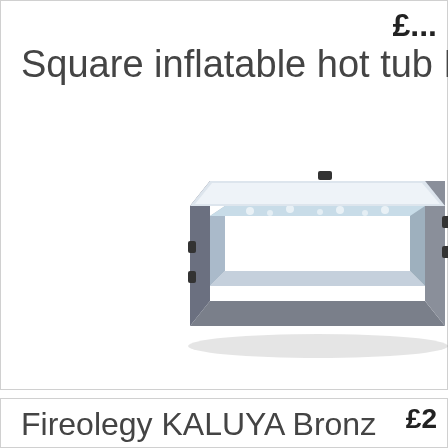£...
Square inflatable hot tub M...
[Figure (photo): Square inflatable hot tub, grey exterior with white inflated rim, viewed from a front-corner angle]
£2...
Fireolegy KALUYA Bronz...